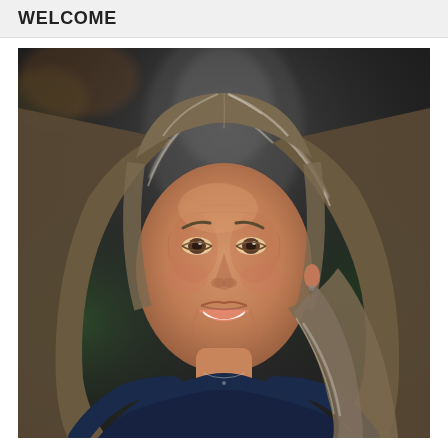WELCOME
[Figure (photo): Portrait photo of a smiling middle-aged woman with long gray-streaked brown hair, wearing a dark blue top, photographed outdoors against a blurred dark natural background with greenery.]